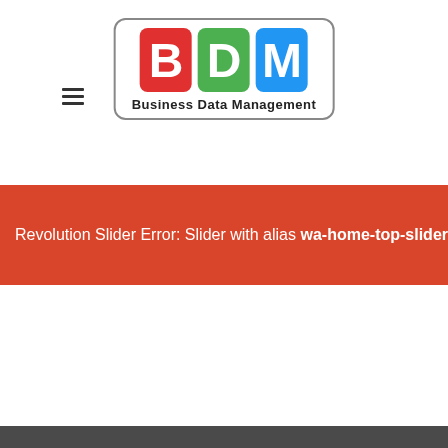BDM Business Data Management
Revolution Slider Error: Slider with alias wa-home-top-slider no